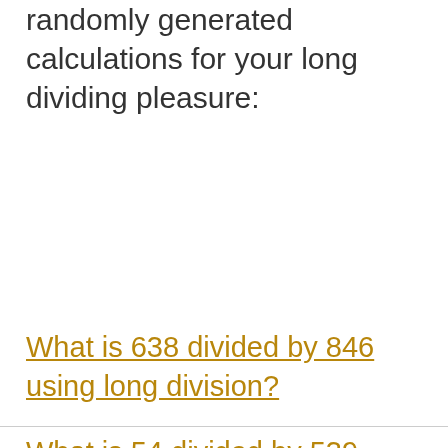randomly generated calculations for your long dividing pleasure:
What is 638 divided by 846 using long division?
What is 54 divided by 539 using long division?